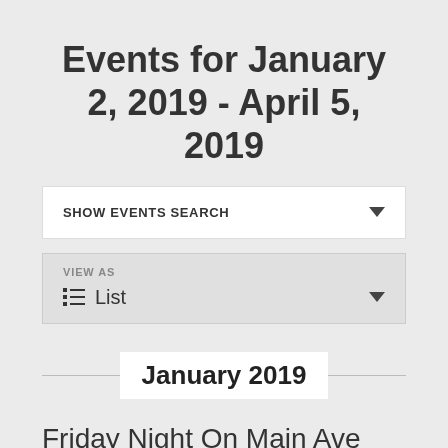Events for January 2, 2019 - April 5, 2019
SHOW EVENTS SEARCH
VIEW AS List
January 2019
Friday Night On Main Ave